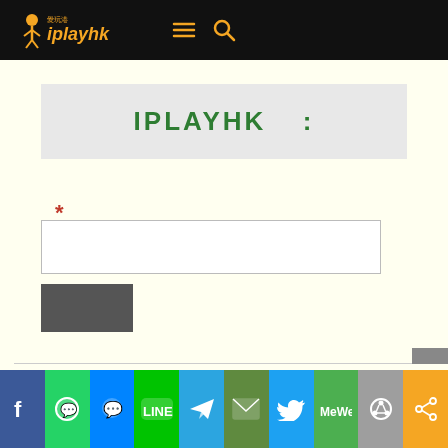iplayhk navigation bar with logo, menu, and search icons
IPLAYHK :
* (required field marker)
[Figure (screenshot): Text input field (empty white box)]
[Figure (screenshot): Dark grey submit button]
Social share bar: Facebook, WhatsApp, Messenger, LINE, Telegram, Email, Twitter, MeWe, QZone, Share